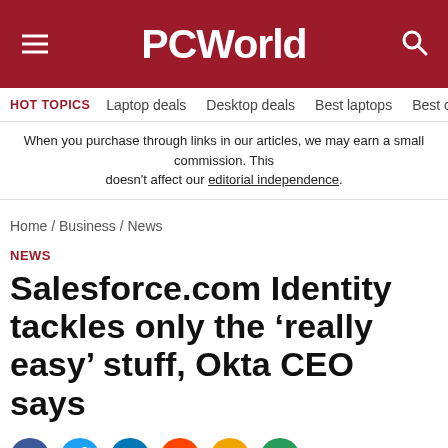PCWorld
HOT TOPICS  Laptop deals  Desktop deals  Best laptops  Best ch
When you purchase through links in our articles, we may earn a small commission. This doesn't affect our editorial independence.
Home / Business / News
NEWS
Salesforce.com Identity tackles only the ‘really easy’ stuff, Okta CEO says